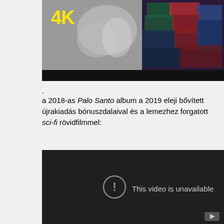[Figure (screenshot): Top portion of a video thumbnail showing a black-and-white image of hands and a colorful knitted fabric on the right, with a yellow '4K' label in the top-left corner. The bottom of the image has a black bar.]
.
a 2018-as Palo Santo album a 2019 eleji bővített újrakiadás bónuszdalaival és a lemezhez forgatott sci-fi rövidfilmmel:
[Figure (screenshot): A dark/black video player embed showing 'This video is unavailable' with an exclamation mark icon in a circle, and a YouTube play button icon in the bottom-right corner.]